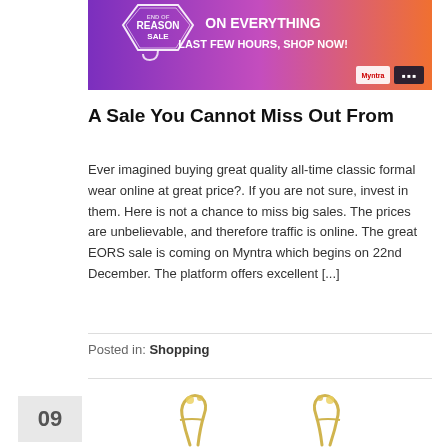[Figure (illustration): Myntra End of Reason Sale banner — purple/orange gradient background with badge logo and text 'ON EVERYTHING LAST FEW HOURS, SHOP NOW!']
A Sale You Cannot Miss Out From
Ever imagined buying great quality all-time classic formal wear online at great price?. If you are not sure, invest in them. Here is not a chance to miss big sales. The prices are unbelievable, and therefore traffic is online. The great EORS sale is coming on Myntra which begins on 22nd December. The platform offers excellent [...]
Posted in: Shopping
[Figure (photo): Gold jewellery / chain items partially visible at bottom of page]
09